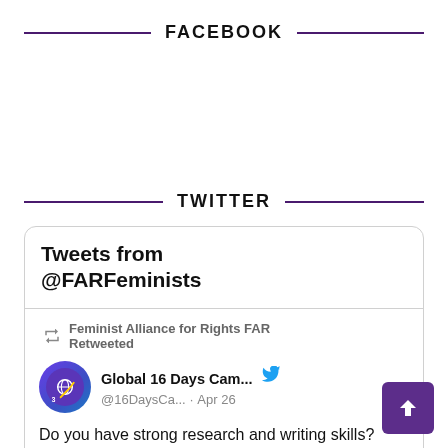FACEBOOK
TWITTER
[Figure (screenshot): Twitter embed widget showing tweets from @FARFeminists. A retweet from Feminist Alliance for Rights FAR is shown, retweeting Global 16 Days Cam... (@16DaysCa...) from Apr 26. The tweet text reads: 'Do you have strong research and writing skills? Are you interested in women's human rights and ending #GBV? Do you want to be a part of the']
Tweets from @FARFeminists
Feminist Alliance for Rights FAR Retweeted
Global 16 Days Cam... @16DaysCa... · Apr 26
Do you have strong research and writing skills?
Are you interested in women's human rights and ending #GBV?
Do you want to be a part of the